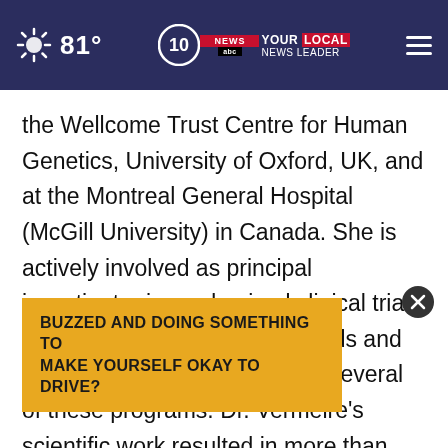81° | NEWS 10 YOUR LOCAL NEWS LEADER
the Wellcome Trust Centre for Human Genetics, University of Oxford, UK, and at the Montreal General Hospital (McGill University) in Canada. She is actively involved as principal investigator in randomized clinical trials with new therapeutic compounds and has been lead investigator on several of these programs. Dr. Vermeire's scientific work resulted in more than 500 peer-reviewed articles and focuses on the role of... susceptibility...
[Figure (screenshot): Ad banner overlay with text: BUZZED AND DOING SOMETHING TO MAKE YOURSELF OKAY TO DRIVE?]